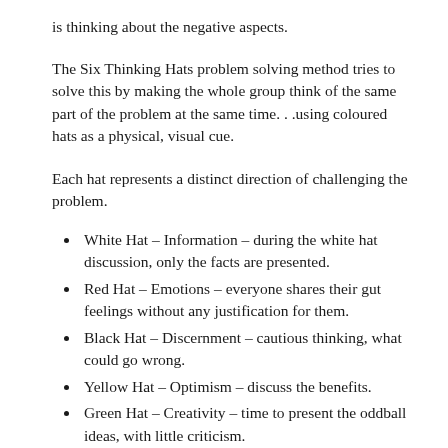is thinking about the negative aspects.
The Six Thinking Hats problem solving method tries to solve this by making the whole group think of the same part of the problem at the same time. . .using coloured hats as a physical, visual cue.
Each hat represents a distinct direction of challenging the problem.
White Hat – Information – during the white hat discussion, only the facts are presented.
Red Hat – Emotions – everyone shares their gut feelings without any justification for them.
Black Hat – Discernment – cautious thinking, what could go wrong.
Yellow Hat – Optimism – discuss the benefits.
Green Hat – Creativity – time to present the oddball ideas, with little criticism.
Blue Hat – Direction – The chair person manages and...